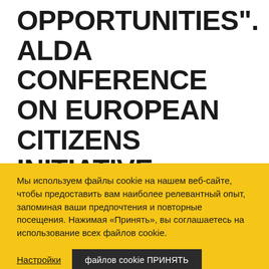OPPORTUNITIES". ALDA CONFERENCE ON EUROPEAN CITIZENS INITIATIVE. (Vicenza, Italy, 25 May 2012)
Мы используем файлы cookie на нашем веб-сайте, чтобы предоставить вам наиболее релевантный опыт, запоминая ваши предпочтения и повторные посещения. Нажимая «Принять», вы соглашаетесь на использование всех файлов cookie.
Настройки | файлов cookie ПРИНЯТЬ